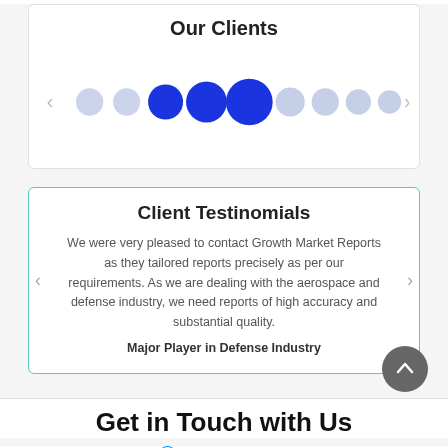Our Clients
[Figure (other): A carousel of client logo placeholders represented as circles of varying sizes and shades of blue, with navigation arrows on either side. Three darker/larger circles in the center indicate the active items.]
Client Testinomials
We were very pleased to contact Growth Market Reports as they tailored reports precisely as per our requirements. As we are dealing with the aerospace and defense industry, we need reports of high accuracy and substantial quality.
Major Player in Defense Industry
Get in Touch with Us
+1 909 414 1393